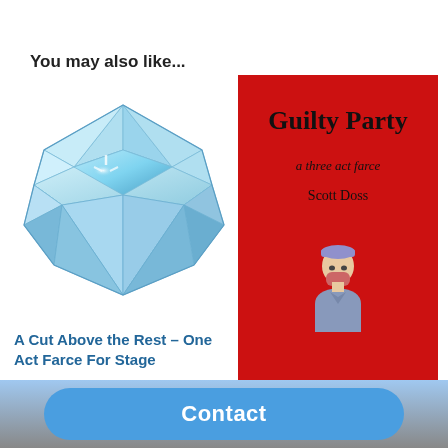You may also like...
[Figure (illustration): Blue diamond gemstone illustration]
[Figure (illustration): Book cover for 'Guilty Party' - red background with title, subtitle 'a three act farce', author 'Scott Doss', and a doctor/surgeon emoji figure]
A Cut Above the Rest – One Act Farce For Stage
$11.00
Guilty Party – Whodunit
Contact